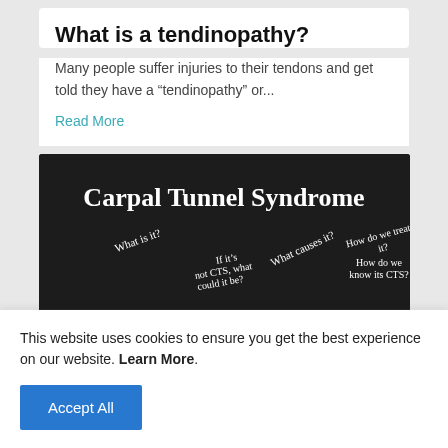What is a tendinopathy?
Many people suffer injuries to their tendons and get told they have a “tendinopathy” or...
Read More
[Figure (infographic): Dark background infographic titled 'Carpal Tunnel Syndrome' with white text questions arranged at angles: 'What is it?', 'If it’s not CTS, what could it be?', 'What causes it?', 'How do we treat it?', 'How do we know its CTS?']
This website uses cookies to ensure you get the best experience on our website. Learn More.
Accept All